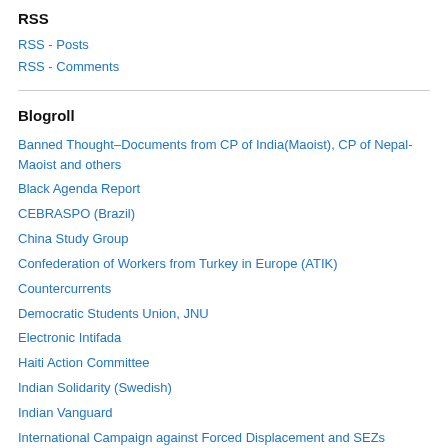RSS
RSS - Posts
RSS - Comments
Blogroll
Banned Thought–Documents from CP of India(Maoist), CP of Nepal-Maoist and others
Black Agenda Report
CEBRASPO (Brazil)
China Study Group
Confederation of Workers from Turkey in Europe (ATIK)
Countercurrents
Democratic Students Union, JNU
Electronic Intifada
Haiti Action Committee
Indian Solidarity (Swedish)
Indian Vanguard
International Campaign against Forced Displacement and SEZs